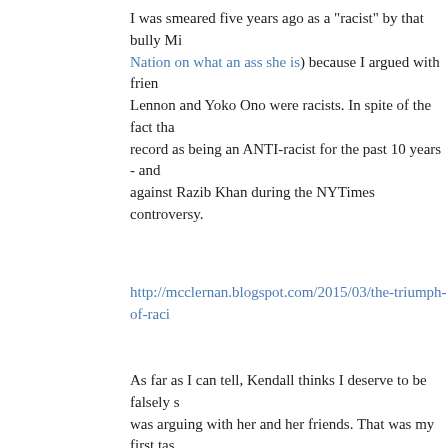I was smeared five years ago as a "racist" by that bully Mi Nation on what an ass she is) because I argued with frien Lennon and Yoko Ono were racists. In spite of the fact tha record as being an ANTI-racist for the past 10 years - and against Razib Khan during the NYTimes controversy.
http://mcclernan.blogspot.com/2015/03/the-triumph-of-raci
As far as I can tell, Kendall thinks I deserve to be falsely s was arguing with her and her friends. That was my first tas public discourse of identitarians.
It's only a matter of time until identitarians turn on you bec gender/ethnicity is what they do. Because identitarians are about the content of a person's character, ONLY the color
And Jesus after all the nice things I said about you and de
http://mcclernan.blogspot.com/search?q=sady
Don't you think the groupthink and absurd smearing that th